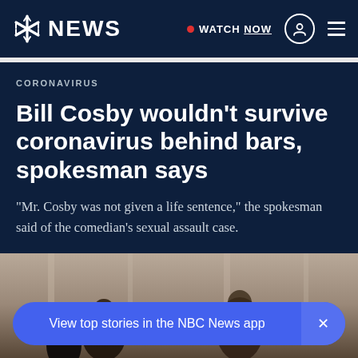NBC NEWS — WATCH NOW
CORONAVIRUS
Bill Cosby wouldn't survive coronavirus behind bars, spokesman says
"Mr. Cosby was not given a life sentence," the spokesman said of the comedian's sexual assault case.
[Figure (photo): Photo of people outside, partially visible at bottom of page]
View top stories in the NBC News app